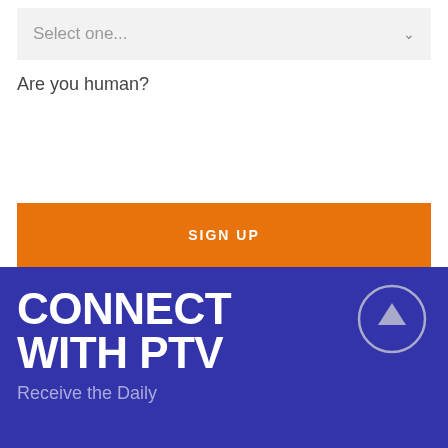Select one...
Are you human?
SIGN UP
CONNECT WITH PTV
Receive the Daily